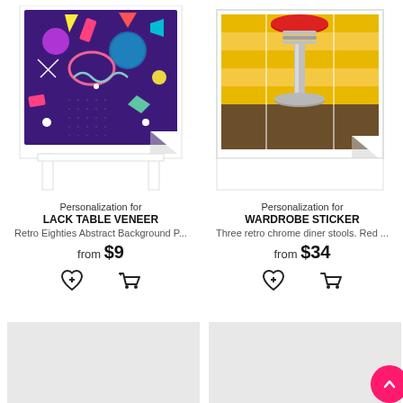[Figure (photo): Product mockup: a side table with a retro 80s abstract background pattern sticker/veneer applied, shown with a peeling corner effect]
Personalization for
LACK TABLE VENEER
Retro Eighties Abstract Background P...
from $9
[Figure (photo): Product mockup: a wardrobe/cabinet with a sticker showing three retro chrome diner stools against yellow background, peeling corner effect]
Personalization for
WARDROBE STICKER
Three retro chrome diner stools. Red ...
from $34